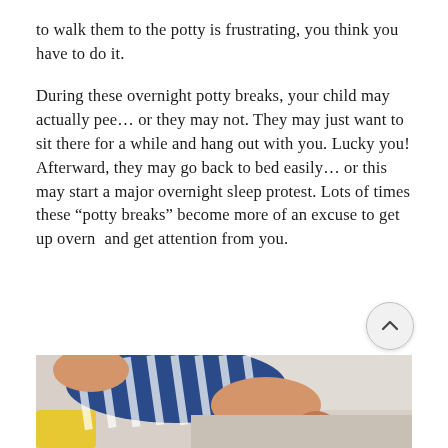to walk them to the potty is frustrating, you think you have to do it.
During these overnight potty breaks, your child may actually pee... or they may not. They may just want to sit there for a while and hang out with you. Lucky you! Afterward, they may go back to bed easily... or this may start a major overnight sleep protest. Lots of times these “potty breaks” become more of an excuse to get up overnight and get attention from you.
[Figure (photo): Photo of a child in a navy and white striped outfit sitting on a potty, viewed from behind, with an adult nearby.]